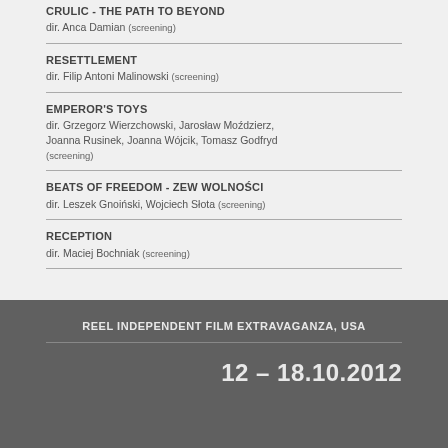CRULIC - THE PATH TO BEYOND
dir. Anca Damian (screening)
RESETTLEMENT
dir. Filip Antoni Malinowski (screening)
EMPEROR'S TOYS
dir. Grzegorz Wierzchowski, Jarosław Moździerz, Joanna Rusinek, Joanna Wójcik, Tomasz Godfryd (screening)
BEATS OF FREEDOM - ZEW WOLNOŚCI
dir. Leszek Gnoiński, Wojciech Słota (screening)
RECEPTION
dir. Maciej Bochniak (screening)
REEL INDEPENDENT FILM EXTRAVAGANZA, USA
12 – 18.10.2012